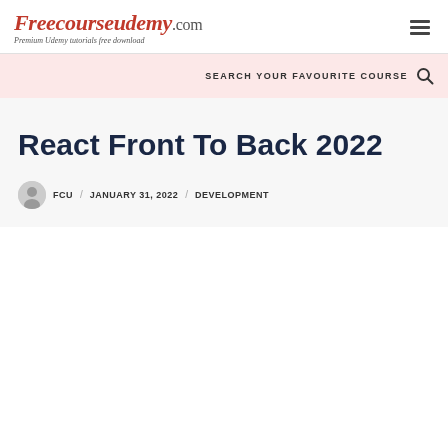FreecourseUdemy.com — Premium Udemy tutorials free download
SEARCH YOUR FAVOURITE COURSE
React Front To Back 2022
FCU / JANUARY 31, 2022 / DEVELOPMENT